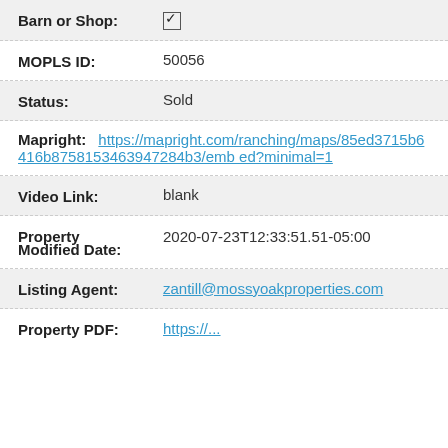Barn or Shop: ☑
MOPLS ID: 50056
Status: Sold
Mapright: https://mapright.com/ranching/maps/85ed3715b6416b8758153463947284b3/embed?minimal=1
Video Link: blank
Property Modified Date: 2020-07-23T12:33:51.51-05:00
Listing Agent: zantill@mossyoakproperties.com
Property PDF: https://...